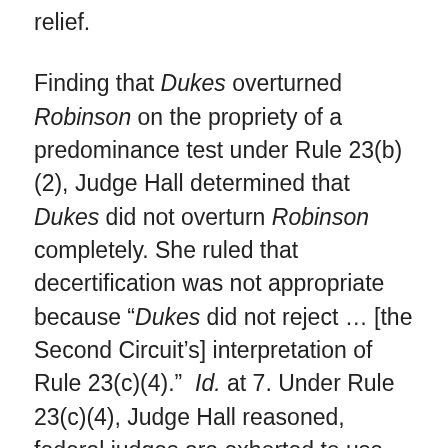relief.
Finding that Dukes overturned Robinson on the propriety of a predominance test under Rule 23(b)(2), Judge Hall determined that Dukes did not overturn Robinson completely. She ruled that decertification was not appropriate because “Dukes did not reject … [the Second Circuit’s] interpretation of Rule 23(c)(4).”  Id. at 7. Under Rule 23(c)(4), Judge Hall reasoned, federal judges are exhorted to use the class action device liberally to reduce the range of disputed issues in complex litigation and achieve judicial efficiencies.  Although Robinson was a pattern or practice disparate treatment case, the Court found that “its logic is equally applicable to disparate impact suits” because liability in both of these types of cases is established via class-wide,